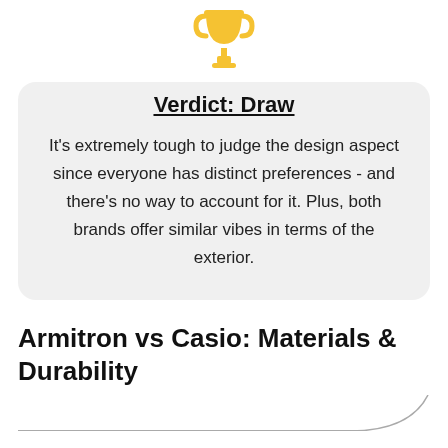[Figure (illustration): Golden trophy / award icon]
Verdict: Draw
It's extremely tough to judge the design aspect since everyone has distinct preferences - and there's no way to account for it. Plus, both brands offer similar vibes in terms of the exterior.
Armitron vs Casio: Materials & Durability
A lion's share of models from both brands oscillates in the sporty spectrum, hence the use of durable and